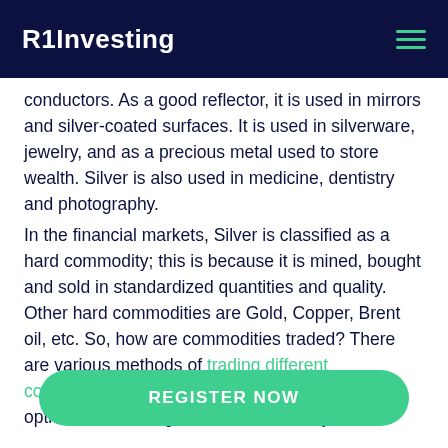R1Investing
conductors. As a good reflector, it is used in mirrors and silver-coated surfaces. It is used in silverware, jewelry, and as a precious metal used to store wealth. Silver is also used in medicine, dentistry and photography.
In the financial markets, Silver is classified as a hard commodity; this is because it is mined, bought and sold in standardized quantities and quality. Other hard commodities are Gold, Copper, Brent oil, etc. So, how are commodities traded? There are various methods of trading different commodities. Below are some of the available options of investing in Silver commodity:
REGISTER NOW